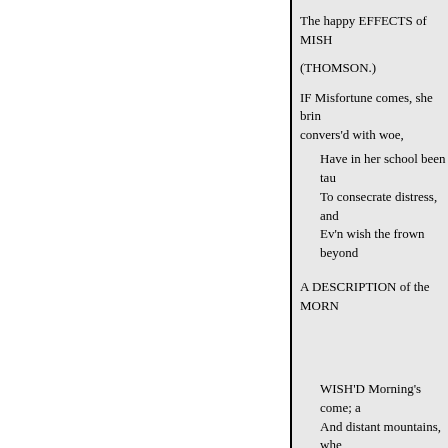The happy EFFECTS of MISH
(THOMSON.)
IF Misfortune comes, she brin convers'd with woe,
Have in her school been tau
To consecrate distress, and
Ev'n wish the frown beyond
A DESCRIPTION of the MORN
WISH'D Morning's come; a
And distant mountains, whe
The happy shepherds leave
And with their pipes procla
The lusty swain comes with
Of healthful viands, which,
With much content and app
To follow in the field his da
And dress the grateful gleb